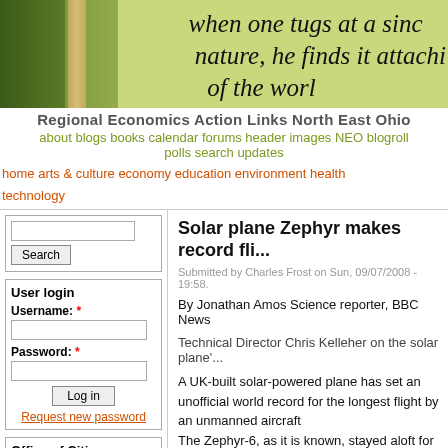[Figure (photo): Website header banner with greenish-yellow background, trees and stone pillar on left, handwritten-style text on right reading 'when one tugs at a sinc nature, he finds it attachi of the worl']
Regional Economics Action Links North East Ohio
about   blogs   books   calendar   forums   header images   NEO blogroll   polls   search   updates
home   arts & culture   economy   education   environment   health   technology
Solar plane Zephyr makes record fli...
Submitted by Charles Frost on Sun, 09/07/2008 - 19:58.
By Jonathan Amos Science reporter, BBC News
Technical Director Chris Kelleher on the solar plane'...
A UK-built solar-powered plane has set an unofficial world record for the longest flight by an unmanned aircraft
The Zephyr-6, as it is known, stayed aloft for more than three days, flying through the night on batteries it had recharged in sunlight.
The flight was a demonstration for the US military, w... technology to support its troops on the ground.
User login
Username: *
Password: *
Request new password
Office of Citizen
Rest in Peace,